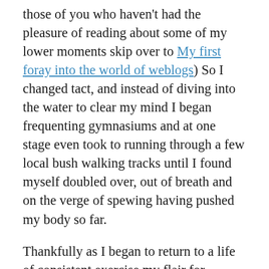those of you who haven't had the pleasure of reading about some of my lower moments skip over to My first foray into the world of weblogs) So I changed tact, and instead of diving into the water to clear my mind I began frequenting gymnasiums and at one stage even took to running through a few local bush walking tracks until I found myself doubled over, out of breath and on the verge of spewing having pushed my body so far.
Thankfully as I began to return to a life of consistent exercise my flair for writing and my unique and rather obscure sense of imagination and creativity returned. Ever since then I have always been a firm believer in the